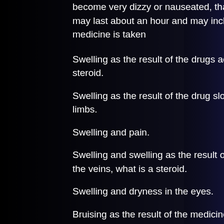become very dizzy or nauseated, that high review. The symptoms may last about an hour and may include the following when the medicine is taken
Swelling as the result of the drugs acting in your muscles, what is a steroid.
Swelling as the result of the drug slowing the action of blood to the limbs.
Swelling and pain.
Swelling and swelling as the result of the medicine moving around the veins, what is a steroid.
Swelling and dryness in the eyes.
Bruising as the result of the medicine causing a small tear to form, go do bad steroids.